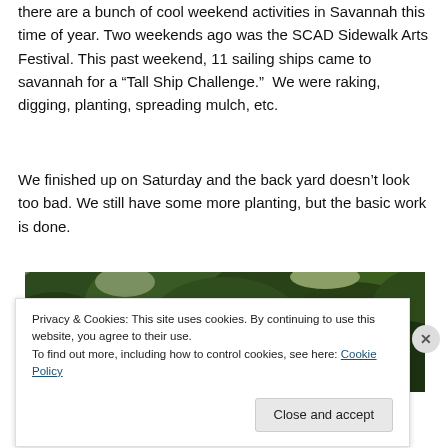there are a bunch of cool weekend activities in Savannah this time of year. Two weekends ago was the SCAD Sidewalk Arts Festival. This past weekend, 11 sailing ships came to savannah for a “Tall Ship Challenge.”  We were raking, digging, planting, spreading mulch, etc.
We finished up on Saturday and the back yard doesn’t look too bad. We still have some more planting, but the basic work is done.
[Figure (photo): Outdoor photo showing green trees with dense foliage against a sky background, partially obscured by cookie consent banner]
Privacy & Cookies: This site uses cookies. By continuing to use this website, you agree to their use.
To find out more, including how to control cookies, see here: Cookie Policy